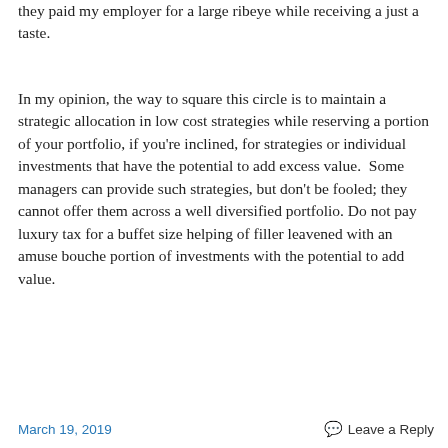they paid my employer for a large ribeye while receiving a just a taste.
In my opinion, the way to square this circle is to maintain a strategic allocation in low cost strategies while reserving a portion of your portfolio, if you're inclined, for strategies or individual investments that have the potential to add excess value.  Some managers can provide such strategies, but don't be fooled; they cannot offer them across a well diversified portfolio. Do not pay luxury tax for a buffet size helping of filler leavened with an amuse bouche portion of investments with the potential to add value.
March 19, 2019   Leave a Reply